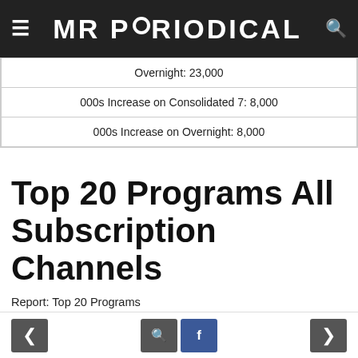MR PERIODICAL
| Overnight: 23,000 |
| 000s Increase on Consolidated 7: 8,000 |
| 000s Increase on Overnight: 8,000 |
Top 20 Programs All Subscription Channels
Report: Top 20 Programs
Channels: All Subscription Channels
Market: National STV
Demographics: Total People
Day-part: 02:00 – 26:00
Day: Monday
< [search] [facebook] >